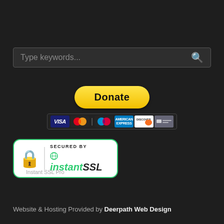[Figure (screenshot): Search bar with placeholder text 'Type keywords...' and magnifying glass icon on dark background]
[Figure (screenshot): PayPal Donate button (yellow rounded rectangle) with payment card icons below (Visa, Mastercard, Maestro, American Express, Discover, and one more)]
[Figure (logo): InstantSSL security badge: white rounded rectangle with green border, padlock icon, vertical divider, 'SECURED BY' text and 'instantSSL' logo in green italic with globe icon]
Instant SSL Pro
Website & Hosting Provided by Deerpath Web Design